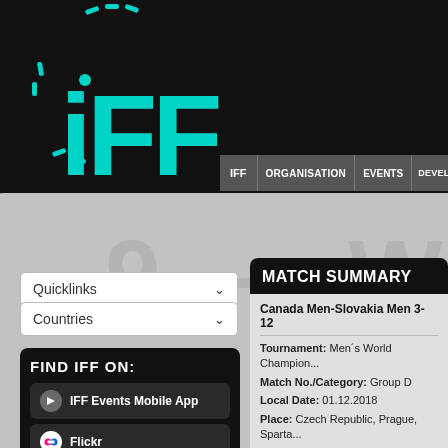[Figure (screenshot): IFF (International Floorball Federation) website screenshot showing logo, navigation bar, quicklinks dropdown, countries dropdown, Find IFF On social media section, and Match Summary panel for Canada Men vs Slovakia Men 3-12]
IFF
IFF  ORGANISATION  EVENTS  DEVELOPMENT
Quicklinks
Countries
FIND IFF ON:
IFF Events Mobile App
Flickr
Instagram
MATCH SUMMARY
Canada Men-Slovakia Men 3-12
Tournament: Men´s World Champion...
Match No./Category: Group D
Local Date: 01.12.2018
Place: Czech Republic, Prague, Sparta...
Match start local time: 12:30
Match start CET: 12:30